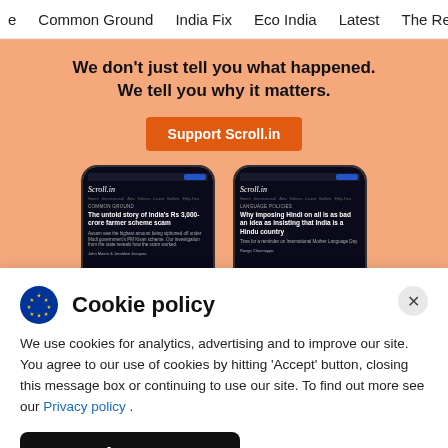e   Common Ground   India Fix   Eco India   Latest   The Reel
[Figure (screenshot): Promotional banner for Scroll.in with peach/salmon background. Text: 'We don't just tell you what happened. We tell you why it matters.' with an orange 'Support Scroll.in' button and two smartphone mockups showing Scroll.in articles.]
Cookie policy
We use cookies for analytics, advertising and to improve our site. You agree to our use of cookies by hitting 'Accept' button, closing this message box or continuing to use our site. To find out more see our Privacy policy .
Accept